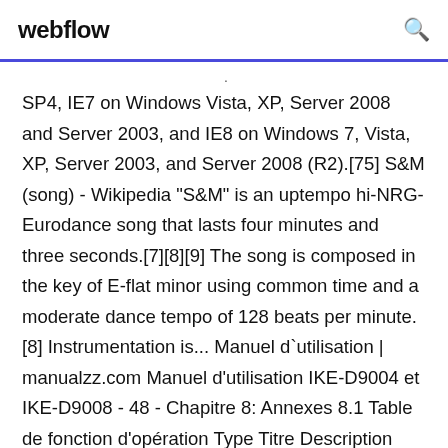webflow
SP4, IE7 on Windows Vista, XP, Server 2008 and Server 2003, and IE8 on Windows 7, Vista, XP, Server 2003, and Server 2008 (R2).[75] S&M (song) - Wikipedia "S&M" is an uptempo hi-NRG-Eurodance song that lasts four minutes and three seconds.[7][8][9] The song is composed in the key of E-flat minor using common time and a moderate dance tempo of 128 beats per minute.[8] Instrumentation is... Manuel d`utilisation | manualzz.com Manuel d'utilisation IKE-D9004 et IKE-D9008 - 48 - Chapitre 8: Annexes 8.1 Table de fonction d'opération Type Titre Description Date / Heure Date, Langage Voie Vidéo & Audio Page heure